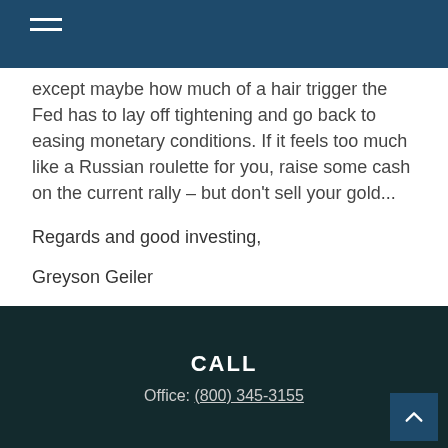[navigation bar with hamburger menu]
except maybe how much of a hair trigger the Fed has to lay off tightening and go back to easing monetary conditions. If it feels too much like a Russian roulette for you, raise some cash on the current rally – but don't sell your gold...
Regards and good investing,
Greyson Geiler
CALL
Office: (800) 345-3155